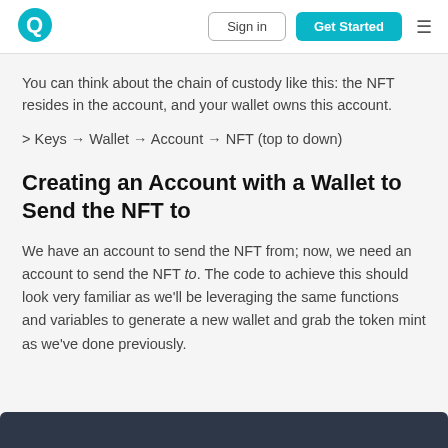Sign in | Get Started
You can think about the chain of custody like this: the NFT resides in the account, and your wallet owns this account.
> Keys → Wallet → Account → NFT (top to down)
Creating an Account with a Wallet to Send the NFT to
We have an account to send the NFT from; now, we need an account to send the NFT to. The code to achieve this should look very familiar as we'll be leveraging the same functions and variables to generate a new wallet and grab the token mint as we've done previously.